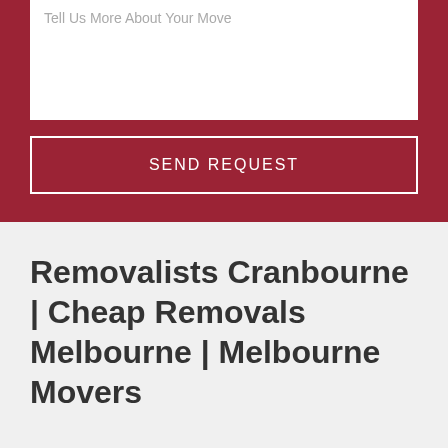Tell Us More About Your Move
SEND REQUEST
Removalists Cranbourne | Cheap Removals Melbourne | Melbourne Movers
[Figure (infographic): Banner image with dark red diagonal overlay on the left side showing 'CALL US: +61-452669001' text in white, and a photo of people on the right side.]